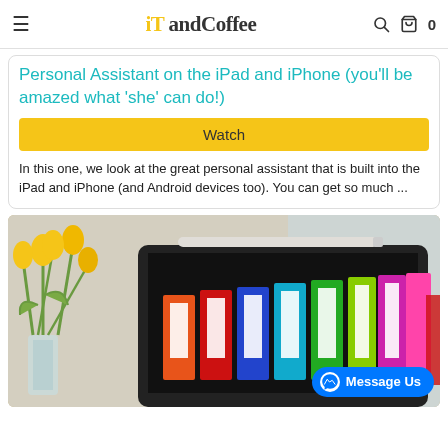iT andCoffee
Personal Assistant on the iPad and iPhone (you'll be amazed what 'she' can do!)
Watch
In this one, we look at the great personal assistant that is built into the iPad and iPhone (and Android devices too). You can get so much ...
[Figure (photo): Photo of an iPad with an Apple Pencil on top, colorful binder tabs/folders visible on screen, yellow tulips in a glass vase in the background]